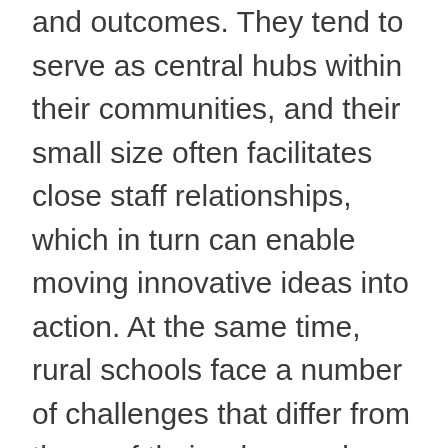and outcomes. They tend to serve as central hubs within their communities, and their small size often facilitates close staff relationships, which in turn can enable moving innovative ideas into action. At the same time, rural schools face a number of challenges that differ from those of their urban and suburban counterparts.
First, it's extremely difficult to draw high-quality teachers to geographically disconnected, rural communities—and, when they do come, it's hard to get them to stay. Second, it's a challenge to connect teachers across remote and rural communities so they can share instructional practices and professional development. One way to address the challenges facing rural schools,